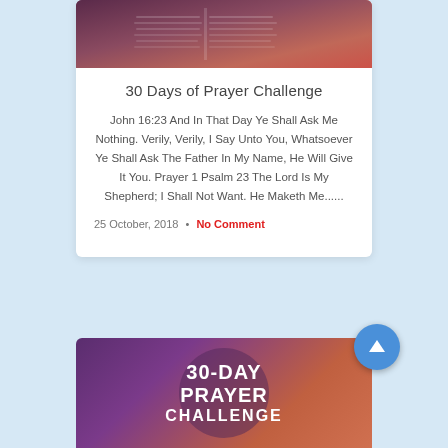[Figure (photo): Open Bible book photograph with purple/pink overlay tones]
30 Days of Prayer Challenge
John 16:23 And In That Day Ye Shall Ask Me Nothing. Verily, Verily, I Say Unto You, Whatsoever Ye Shall Ask The Father In My Name, He Will Give It You. Prayer 1 Psalm 23 The Lord Is My Shepherd; I Shall Not Want. He Maketh Me......
25 October, 2018 • No Comment
[Figure (infographic): 30-Day Prayer Challenge graphic with purple to orange gradient background and white bold text]